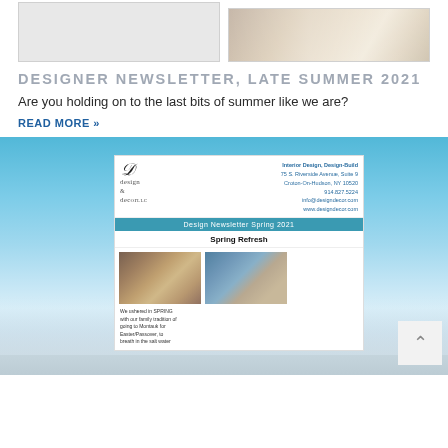[Figure (photo): Two photos at top: left is a light gray/white room interior, right is a bright hallway/room interior view]
DESIGNER NEWSLETTER, LATE SUMMER 2021
Are you holding on to the last bits of summer like we are?
READ MORE »
[Figure (screenshot): Screenshot of a previous newsletter (Design Newsletter Spring 2021) shown against a blue sky background with clouds. The newsletter shows Design & Decor LLC logo, contact info, a teal banner reading 'Design Newsletter Spring 2021', a 'Spring Refresh' heading, and two photos below with caption text beginning 'We ushered in SPRING with our family tradition of going to Montauk for Easter/Passover, to breath in the salt water']